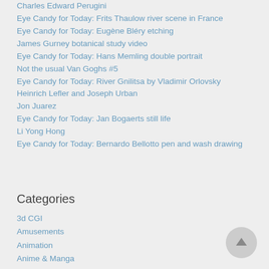Charles Edward Perugini
Eye Candy for Today: Frits Thaulow river scene in France
Eye Candy for Today: Eugène Bléry etching
James Gurney botanical study video
Eye Candy for Today: Hans Memling double portrait
Not the usual Van Goghs #5
Eye Candy for Today: River Gnilitsa by Vladimir Orlovsky
Heinrich Lefler and Joseph Urban
Jon Juarez
Eye Candy for Today: Jan Bogaerts still life
Li Yong Hong
Eye Candy for Today: Bernardo Bellotto pen and wash drawing
Categories
3d CGI
Amusements
Animation
Anime & Manga